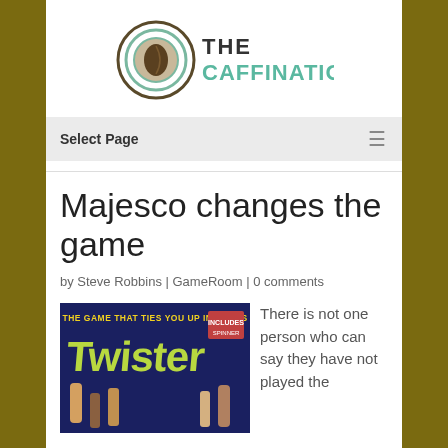[Figure (logo): The Caffination logo: a coffee bean inside concentric circles with green and dark brown text reading THE CAFFINATION]
Select Page
Majesco changes the game
by Steve Robbins | GameRoom | 0 comments
[Figure (photo): Vintage Twister board game box art reading 'THE GAME THAT TIES YOU UP IN KNOTS' with Twister logo and players illustrated]
There is not one person who can say they have not played the